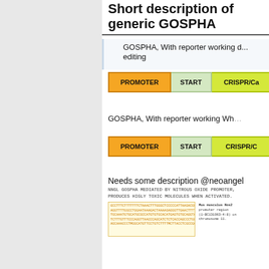Short description of generic GOSPHA
GOSPHA, With reporter working during editing
[Figure (schematic): Gene construct diagram with PROMOTER, START, and CRISPR/Cas elements shown as colored bars]
GOSPHA, With reporter working When
[Figure (schematic): Second gene construct diagram with PROMOTER, START, and CRISPR/C elements]
Needs some description @neoangel
NNGL GOSPHA MEDIATED BY NITROUS OXIDE PROMOTER, PRODUCES HIGLY TOXIC MOLECULES WHEN ACTIVATED.
[Figure (schematic): DNA sequence block with orange highlighted sequence text and sidebar showing Mus musculus Nos2 promoter region chromosome 11 reference]